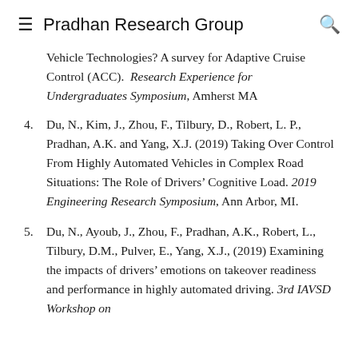≡  Pradhan Research Group  🔍
Vehicle Technologies? A survey for Adaptive Cruise Control (ACC).  Research Experience for Undergraduates Symposium, Amherst MA
4. Du, N., Kim, J., Zhou, F., Tilbury, D., Robert, L. P., Pradhan, A.K. and Yang, X.J. (2019) Taking Over Control From Highly Automated Vehicles in Complex Road Situations: The Role of Drivers' Cognitive Load. 2019 Engineering Research Symposium, Ann Arbor, MI.
5. Du, N., Ayoub, J., Zhou, F., Pradhan, A.K., Robert, L., Tilbury, D.M., Pulver, E., Yang, X.J., (2019) Examining the impacts of drivers' emotions on takeover readiness and performance in highly automated driving. 3rd IAVSD Workshop on